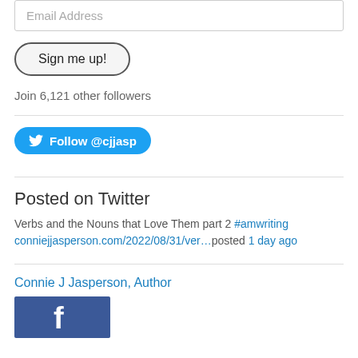Email Address
Sign me up!
Join 6,121 other followers
[Figure (other): Twitter Follow button: Follow @cjjasp]
Posted on Twitter
Verbs and the Nouns that Love Them part 2 #amwriting conniejjasperson.com/2022/08/31/ver…posted 1 day ago
Connie J Jasperson, Author
[Figure (logo): Facebook logo image (blue background with white 'f' letter)]